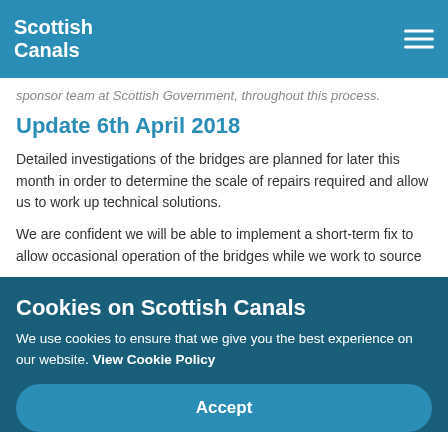Scottish Canals
sponsor team at Scottish Government, throughout this process.
Update 6th April 2018
Detailed investigations of the bridges are planned for later this month in order to determine the scale of repairs required and allow us to work up technical solutions.
We are confident we will be able to implement a short-term fix to allow occasional operation of the bridges while we work to source
Cookies on Scottish Canals
We use cookies to ensure that we give you the best experience on our website. View Cookie Policy
Accept